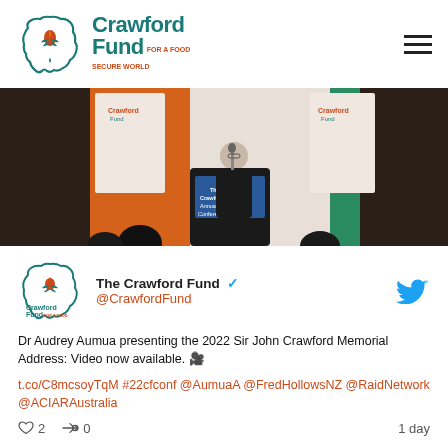Crawford Fund FOR A FOOD SECURE WORLD
[Figure (photo): Person presenting at a podium at The Crawford Fund Annual Conference, with green and orange branded backdrop banners]
[Figure (screenshot): Tweet from @CrawfordFund: Dr Audrey Aumua presenting the 2022 Sir John Crawford Memorial Address: Video now available. t.co/C8mcsoyTqM #22cfconf @AumuaA @FredHollowsNZ @RaidNetwork @ACIARAustralia — 2 likes, 0 retweets, 1 day ago]